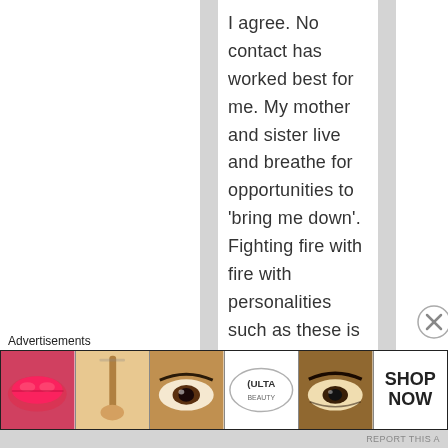I agree. No contact has worked best for me. My mother and sister live and breathe for opportunities to 'bring me down'. Fighting fire with fire with personalities such as these is DANGEROUS because their minds' do not work like normal people. I have
Advertisements
[Figure (other): Advertisement banner for ULTA beauty showing makeup images (lips, brush, eye, ULTA logo, eye, SHOP NOW text) with a close button.]